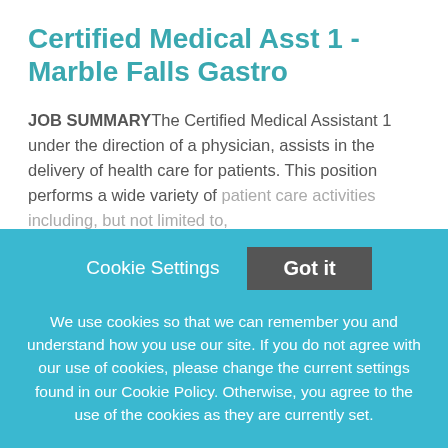Certified Medical Asst 1 - Marble Falls Gastro
JOB SUMMARYThe Certified Medical Assistant 1 under the direction of a physician, assists in the delivery of health care for patients. This position performs a wide variety of patient care activities including, but not limited to,
This job listing is no longer active.
Cookie Settings
Got it
We use cookies so that we can remember you and understand how you use our site. If you do not agree with our use of cookies, please change the current settings found in our Cookie Policy. Otherwise, you agree to the use of the cookies as they are currently set.